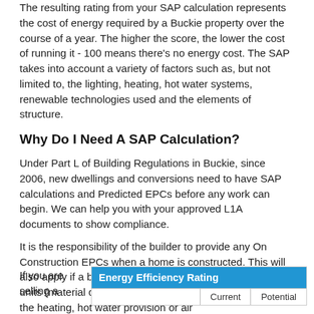The resulting rating from your SAP calculation represents the cost of energy required by a Buckie property over the course of a year. The higher the score, the lower the cost of running it - 100 means there's no energy cost. The SAP takes into account a variety of factors such as, but not limited to, the lighting, heating, hot water systems, renewable technologies used and the elements of structure.
Why Do I Need A SAP Calculation?
Under Part L of Building Regulations in Buckie, since 2006, new dwellings and conversions need to have SAP calculations and Predicted EPCs before any work can begin. We can help you with your approved L1A documents to show compliance.
It is the responsibility of the builder to provide any On Construction EPCs when a home is constructed. This will also apply if a building is converted into fewer or more units (material change of use) and changes are made to the heating, hot water provision or air conditioning/ventilation services.
For a building conversion - where there has been a material change of use - you will need to show compliance with Approved Document L1B to Building Control in Buckie.
A TER DER Calculation can be undertaken for anyone from estate agents and home owners to energy companies and landlords. If you're unsure on anything related to your SAP calc then don't hesitate to get in touch and our SAP team will help point you in the right direction.
If you are selling a
[Figure (infographic): Energy Efficiency Rating chart with blue header and columns for Current and Potential]